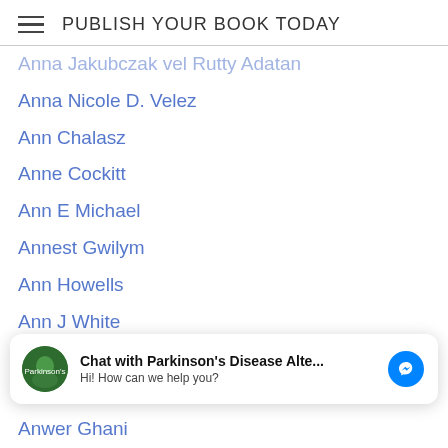PUBLISH YOUR BOOK TODAY
Anna Jakubczak vel Rutty Adatan
Anna Nicole D. Velez
Ann Chalasz
Anne Cockitt
Ann E Michael
Annest Gwilym
Ann Howells
Ann J White
Ann J. White
Anord Sichinsambwe
Anthologies
Anthology
Anthony Arnold
Anthony Blake
Chat with Parkinson's Disease Alte... Hi! How can we help you?
Antonietta Losito
Anwer Ghani